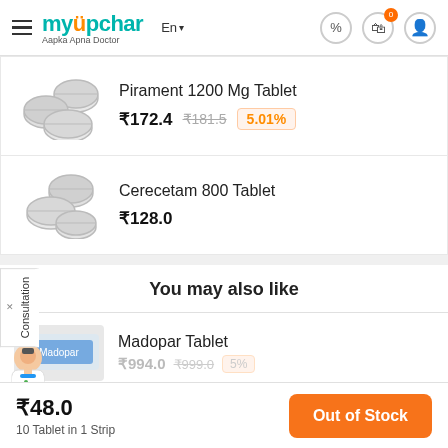myUpchar — Aapka Apna Doctor
Pirament 1200 Mg Tablet
₹172.4  ₹181.5  5.01%
Cerecetam 800 Tablet
₹128.0
You may also like
Madopar Tablet
₹48.0
10 Tablet in 1 Strip
Out of Stock